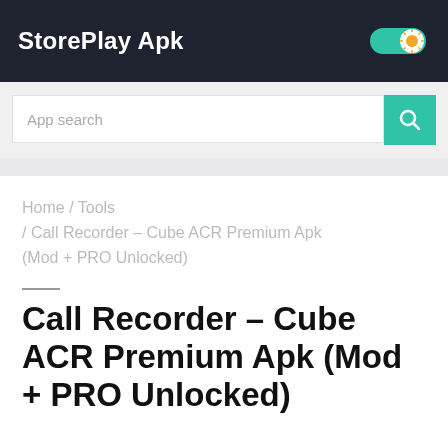StorePlay Apk
App search
Home / Tools / Call Recorder – Cube ACR Premium Apk (Mod + PRO Unlocked)
Call Recorder – Cube ACR Premium Apk (Mod + PRO Unlocked)